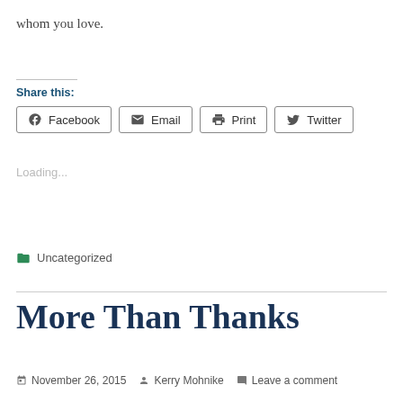whom you love.
Share this:
Facebook   Email   Print   Twitter
Loading...
Uncategorized
More Than Thanks
November 26, 2015   Kerry Mohnike   Leave a comment